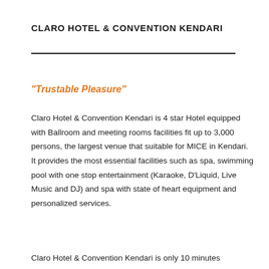CLARO HOTEL & CONVENTION KENDARI
“Trustable Pleasure”
Claro Hotel & Convention Kendari is 4 star Hotel equipped with Ballroom and meeting rooms facilities fit up to 3,000 persons, the largest venue that suitable for MICE in Kendari. It provides the most essential facilities such as spa, swimming pool with one stop entertainment (Karaoke, D’Liquid, Live Music and DJ) and spa with state of heart equipment and personalized services.
Claro Hotel & Convention Kendari is only 10 minutes